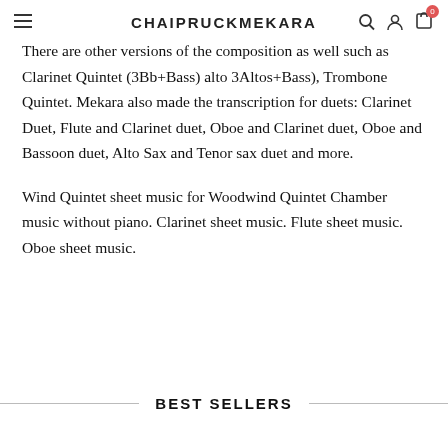CHAIPRUCKMEKARA
There are other versions of the composition as well such as Clarinet Quintet (3Bb+Bass) alto 3Altos+Bass), Trombone Quintet. Mekara also made the transcription for duets: Clarinet Duet, Flute and Clarinet duet, Oboe and Clarinet duet, Oboe and Bassoon duet, Alto Sax and Tenor sax duet and more.
Wind Quintet sheet music for Woodwind Quintet Chamber music without piano. Clarinet sheet music. Flute sheet music. Oboe sheet music.
BEST SELLERS